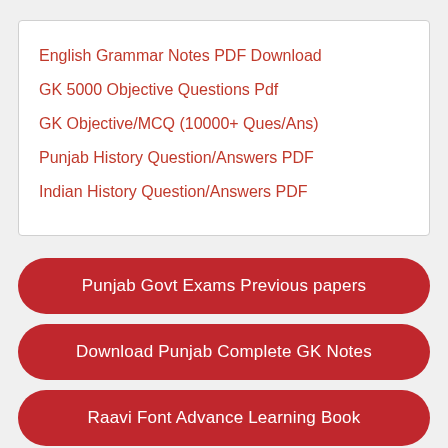English Grammar Notes PDF Download
GK 5000 Objective Questions Pdf
GK Objective/MCQ (10000+ Ques/Ans)
Punjab History Question/Answers PDF
Indian History Question/Answers PDF
Punjab Govt Exams Previous papers
Download Punjab Complete GK Notes
Raavi Font Advance Learning Book
Punjabi Grammar Complete Notes